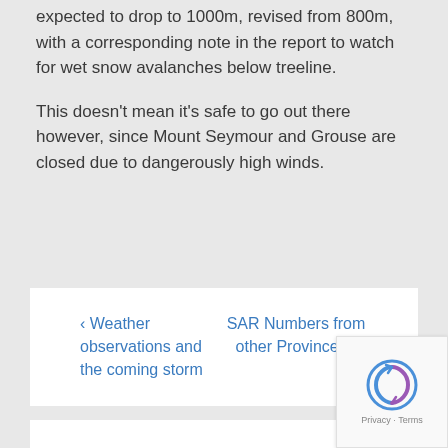expected to drop to 1000m, revised from 800m, with a corresponding note in the report to watch for wet snow avalanches below treeline.
This doesn't mean it's safe to go out there however, since Mount Seymour and Grouse are closed due to dangerously high winds.
‹ Weather observations and the coming storm
SAR Numbers from other Provinces ›